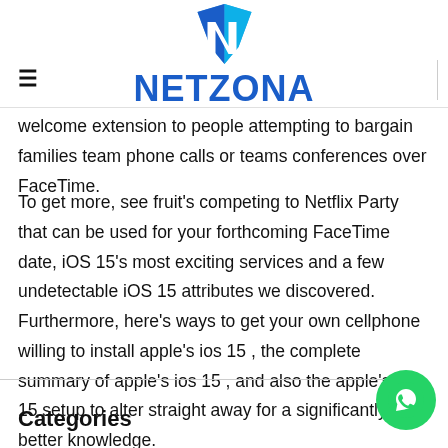NETZONA
welcome extension to people attempting to bargain families team phone calls or teams conferences over FaceTime.
To get more, see fruit's competing to Netflix Party that can be used for your forthcoming FaceTime date, iOS 15's most exciting services and a few undetectable iOS 15 attributes we discovered. Furthermore, here's ways to get your own cellphone willing to install apple's ios 15 , the complete summary of apple's ios 15 , and also the apple's ios 15 setup to alter straight away for a significantly better knowledge.
Categories